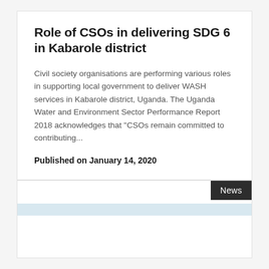Role of CSOs in delivering SDG 6 in Kabarole district
Civil society organisations are performing various roles in supporting local government to deliver WASH services in Kabarole district, Uganda. The Uganda Water and Environment Sector Performance Report 2018 acknowledges that "CSOs remain committed to contributing...
Published on January 14, 2020
[Figure (other): A card with a News tag label in dark background, with a light blue horizontal bar below]